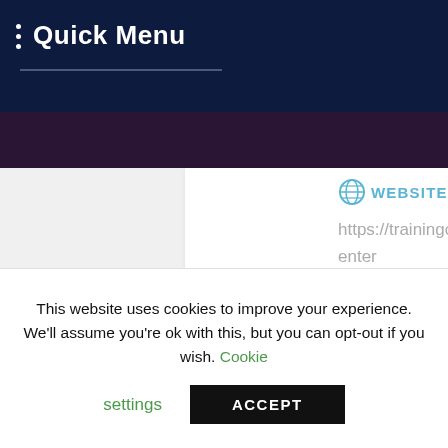Quick Menu
WEBSITE
https://trainingcourses.center
COURSE TYPES
Food Safety Courses
This website uses cookies to improve your experience. We'll assume you're ok with this, but you can opt-out if you wish. Cookie settings ACCEPT